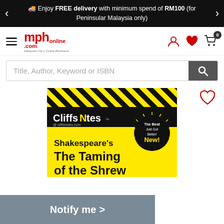Enjoy FREE delivery with minimum spend of RM100 (for Peninsular Malaysia only)
[Figure (logo): MPH Online bookstore logo with hamburger menu icon]
[Figure (screenshot): Search bar with placeholder text 'Title, Author, Keyword or ISBN' and search button]
[Figure (photo): CliffsNotes book cover: Shakespeare's The Taming of the Shrew, yellow and black design with 'The Best Just Got Better! New!' badge]
Notify me >